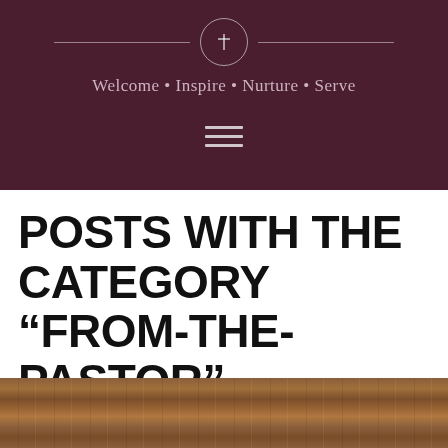[Figure (logo): Church logo with cross in circle flanked by horizontal lines, tagline 'Welcome · Inspire · Nurture · Serve', hamburger menu icon, on dark maroon background]
POSTS WITH THE CATEGORY “FROM-THE-PASTOR”
[Figure (photo): Partial view of wooden surface with white letters/objects on it]